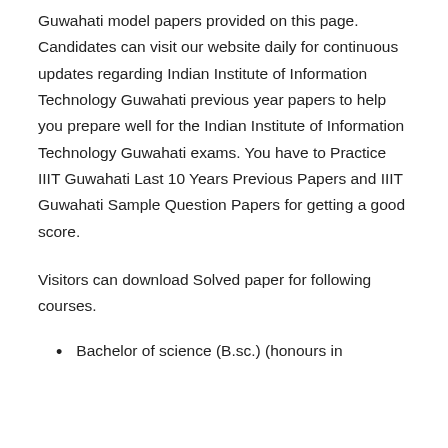Guwahati model papers provided on this page. Candidates can visit our website daily for continuous updates regarding Indian Institute of Information Technology Guwahati previous year papers to help you prepare well for the Indian Institute of Information Technology Guwahati exams. You have to Practice IIIT Guwahati Last 10 Years Previous Papers and IIIT Guwahati Sample Question Papers for getting a good score.
Visitors can download Solved paper for following courses.
Bachelor of science (B.sc.) (honours in